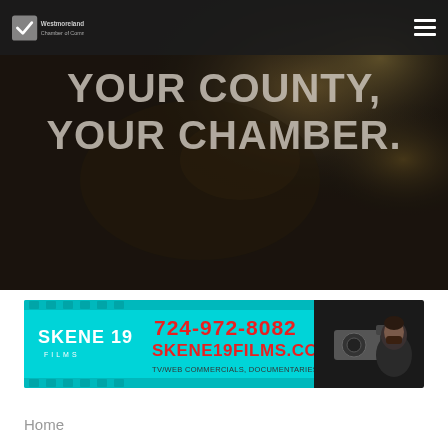Westmoreland County Chamber of Commerce — navigation header with hamburger menu
[Figure (photo): Hero background photo of hands using a smartphone, with warm bokeh lights. Dark overlay applied. Large bold text reads 'YOUR COUNTY. YOUR CHAMBER.' in light gray/white uppercase letters.]
YOUR COUNTY. YOUR CHAMBER.
[Figure (other): Banner advertisement for Skene 19 Films. Cyan/teal left section with film strip border decoration, logo 'SKENE 19 FILMS', phone number '724-972-8082', website 'SKENE19FILMS.COM', tagline 'TV/WEB COMMERCIALS, DOCUMENTARIES, AND MORE!' in red text. Right section shows a man with a professional video camera.]
Home